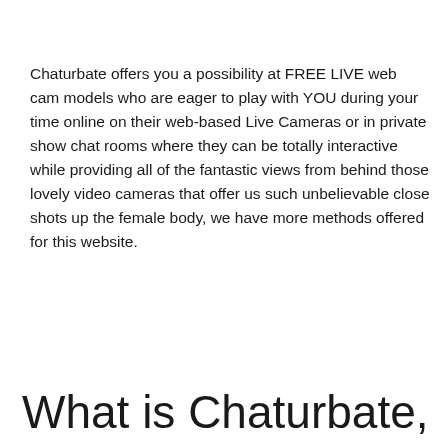Chaturbate offers you a possibility at FREE LIVE web cam models who are eager to play with YOU during your time online on their web-based Live Cameras or in private show chat rooms where they can be totally interactive while providing all of the fantastic views from behind those lovely video cameras that offer us such unbelievable close shots up the female body, we have more methods offered for this website.
What is Chaturbate,